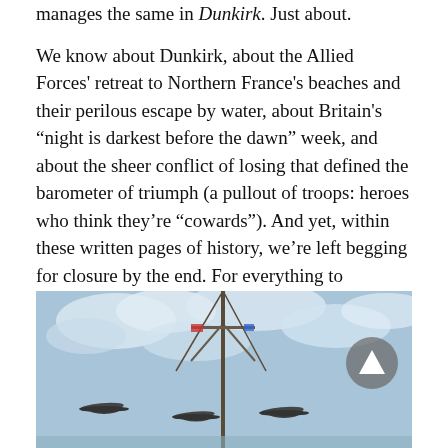manages the same in Dunkirk. Just about.
We know about Dunkirk, about the Allied Forces' retreat to Northern France's beaches and their perilous escape by water, about Britain's "night is darkest before the dawn" week, and about the sheer conflict of losing that defined the barometer of triumph (a pullout of troops: heroes who think they're "cowards"). And yet, within these written pages of history, we're left begging for closure by the end. For everything to magically result in relief. For words in a near-silent and semi-apocalyptic universe.
[Figure (photo): Photo showing three World War II aircraft flying in formation against a cloudy sky, with a tall ship mast visible in the center of the image. A scroll-to-top button (triangle arrow) is overlaid in the bottom-right area of the image.]